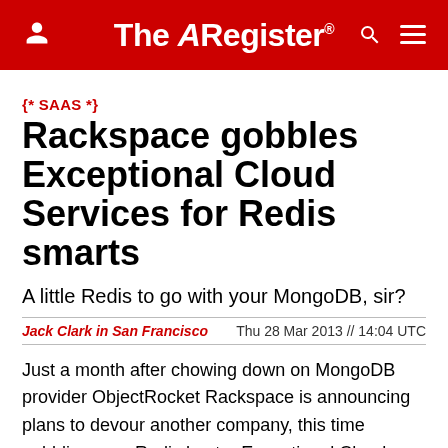The Register
{* SAAS *}
Rackspace gobbles Exceptional Cloud Services for Redis smarts
A little Redis to go with your MongoDB, sir?
Jack Clark in San Francisco   Thu 28 Mar 2013 // 14:04 UTC
Just a month after chowing down on MongoDB provider ObjectRocket Rackspace is announcing plans to devour another company, this time gobbling up a Redis hoster Exceptional Cloud Services.
The folks at the Texan cloud company just can't get